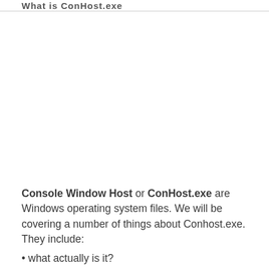What is ConHost.exe
Console Window Host or ConHost.exe are Windows operating system files. We will be covering a number of things about Conhost.exe. They include:
what actually is it?